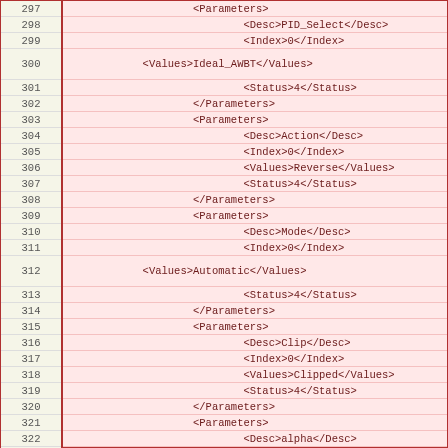| Line | Code |
| --- | --- |
| 297 |                     <Parameters> |
| 298 |                             <Desc>PID_Select</Desc> |
| 299 |                             <Index>0</Index> |
| 300 |             <Values>Ideal_AWBT</Values> |
| 301 |                             <Status>4</Status> |
| 302 |                     </Parameters> |
| 303 |                     <Parameters> |
| 304 |                             <Desc>Action</Desc> |
| 305 |                             <Index>0</Index> |
| 306 |                             <Values>Reverse</Values> |
| 307 |                             <Status>4</Status> |
| 308 |                     </Parameters> |
| 309 |                     <Parameters> |
| 310 |                             <Desc>Mode</Desc> |
| 311 |                             <Index>0</Index> |
| 312 |             <Values>Automatic</Values> |
| 313 |                             <Status>4</Status> |
| 314 |                     </Parameters> |
| 315 |                     <Parameters> |
| 316 |                             <Desc>Clip</Desc> |
| 317 |                             <Index>0</Index> |
| 318 |                             <Values>Clipped</Values> |
| 319 |                             <Status>4</Status> |
| 320 |                     </Parameters> |
| 321 |                     <Parameters> |
| 322 |                             <Desc>alpha</Desc> |
| 323 |                             <Index>0</Index> |
| 324 |                             <Values>0.2</Values> |
| 325 |                             <Status>4</Status> |
| 326 |                     </Parameters> |
| 327 |                     <Parameters> |